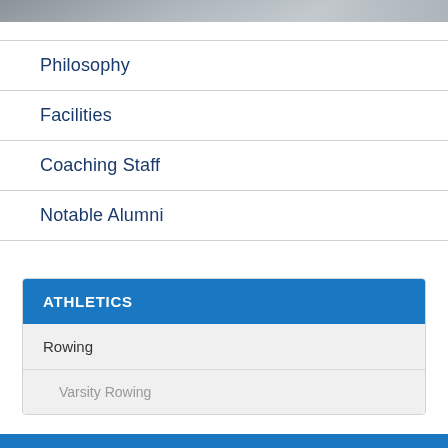[Figure (photo): Partial grayscale photo visible at top of page, cropped]
Philosophy
Facilities
Coaching Staff
Notable Alumni
ATHLETICS
Rowing
Varsity Rowing